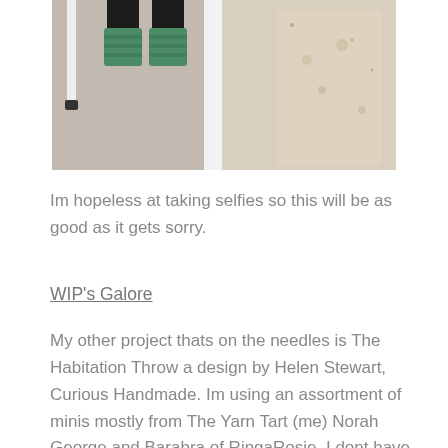[Figure (photo): A photo showing someone's feet/legs wearing teal/green striped socks and black pants, standing near white furniture legs, with a floral cushion or fabric visible on the right side. The image appears to be a selfie taken looking downward.]
Im hopeless at taking selfies so this will be as good as it gets sorry.
WIP's Galore
My other project thats on the needles is The Habitation Throw a design by Helen Stewart, Curious Handmade. Im using an assortment of minis mostly from The Yarn Tart (me) Norah George and Barabra of RingaRosie. I dont have a big stash of minis so Ive had to take some from full skeins. I